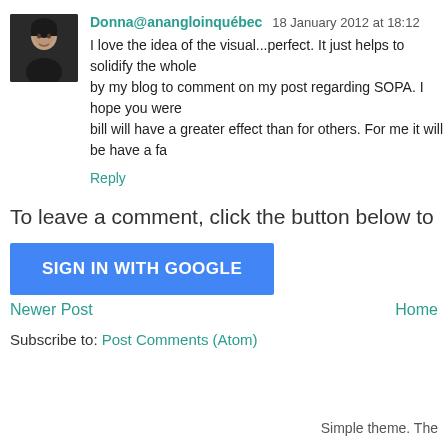Donna@anangloinquébec  18 January 2012 at 18:12
I love the idea of the visual...perfect. It just helps to solidify the whole by my blog to comment on my post regarding SOPA. I hope you were bill will have a greater effect than for others. For me it will be have a fa
Reply
To leave a comment, click the button below to sign in with G
[Figure (other): SIGN IN WITH GOOGLE button (blue rectangle with white text)]
Newer Post
Home
Subscribe to: Post Comments (Atom)
Simple theme. The